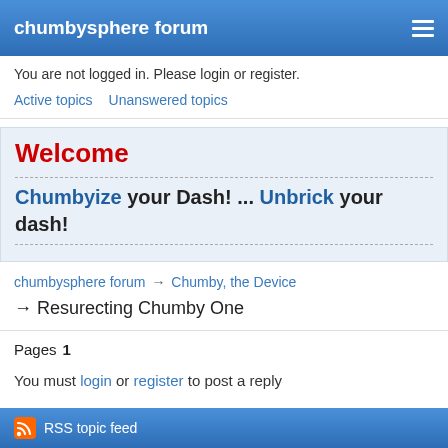chumbysphere forum
You are not logged in. Please login or register.
Active topics   Unanswered topics
Welcome
Chumbyize your Dash! ... Unbrick your dash!
chumbysphere forum → Chumby, the Device → Resurecting Chumby One
Pages  1
You must login or register to post a reply
RSS topic feed